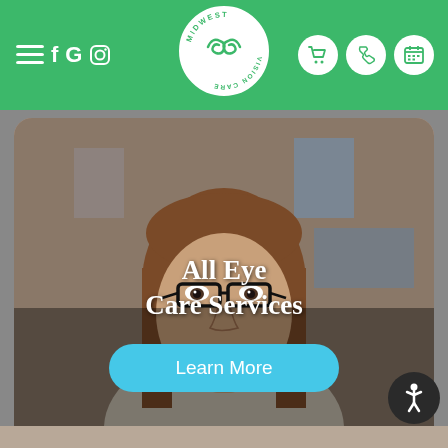Midwest Vision Care navigation header with hamburger menu, social icons (f, G, Instagram), logo, cart, phone, and calendar icons
[Figure (photo): Young woman with brown hair wearing black-framed glasses, smiling, with overlaid text 'All Eye Care Services' and a 'Learn More' button]
All Eye Care Services
Learn More